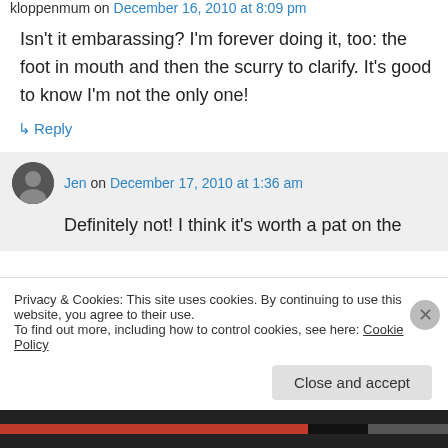kloppenmum on December 16, 2010 at 8:09 pm
Isn't it embarassing? I'm forever doing it, too: the foot in mouth and then the scurry to clarify. It's good to know I'm not the only one!
↳ Reply
Jen on December 17, 2010 at 1:36 am
Definitely not! I think it's worth a pat on the
Privacy & Cookies: This site uses cookies. By continuing to use this website, you agree to their use.
To find out more, including how to control cookies, see here: Cookie Policy
Close and accept